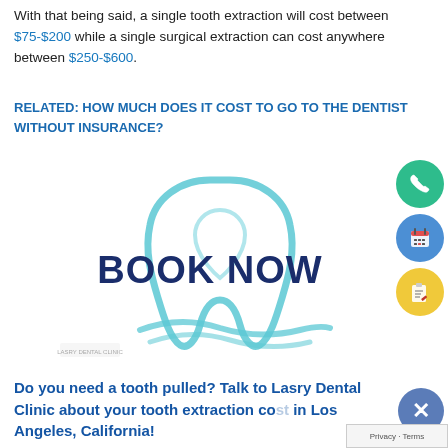With that being said, a single tooth extraction will cost between $75-$200 while a single surgical extraction can cost anywhere between $250-$600.
RELATED: HOW MUCH DOES IT COST TO GO TO THE DENTIST WITHOUT INSURANCE?
[Figure (illustration): Book Now dental clinic promotional image with tooth outline and 'BOOK NOW' text in dark blue bold letters on white background with teal tooth graphic]
Do you need a tooth pulled? Talk to Lasry Dental Clinic about your tooth extraction cost in Los Angeles, California!